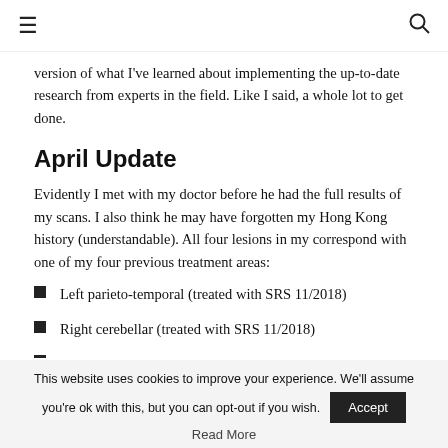≡  🔍
version of what I've learned about implementing the up-to-date research from experts in the field. Like I said, a whole lot to get done.
April Update
Evidently I met with my doctor before he had the full results of my scans. I also think he may have forgotten my Hong Kong history (understandable). All four lesions in my correspond with one of my four previous treatment areas:
Left parieto-temporal (treated with SRS 11/2018)
Right cerebellar (treated with SRS 11/2018)
Right temporal (treated with SRS 4/2019)
This website uses cookies to improve your experience. We'll assume you're ok with this, but you can opt-out if you wish. Accept
Read More